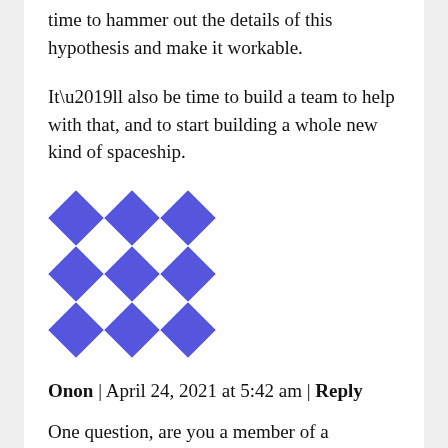time to hammer out the details of this hypothesis and make it workable.
It’ll also be time to build a team to help with that, and to start building a whole new kind of spaceship.
[Figure (illustration): Blue geometric avatar icon with diamond and cross patterns arranged in a 3x3 grid on white background]
Onon | April 24, 2021 at 5:42 am | Reply
One question, are you a member of a scientific community?
[Figure (illustration): Green and white geometric avatar icon with star/arrow patterns arranged in a 3x3 grid]
Robert C. Morin | December 16, 2021 at 7:36 am